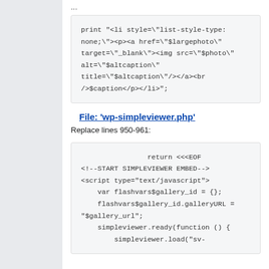...
print "<li style=\"list-style-type: none;\"><p><a href=\"$largephoto\" target=\"_blank\"><img src=\"$photo\" alt=\"$altcaption\" title=\"$altcaption\"/></a><br />$caption</p></li>";
File: 'wp-simpleviewer.php'
Replace lines 950-961:
return <<<EOF
<!--START SIMPLEVIEWER EMBED-->
<script type="text/javascript">
    var flashvars$gallery_id = {};
    flashvars$gallery_id.galleryURL = "$gallery_url";
    simpleviewer.ready(function () {
        simpleviewer.load("sv-